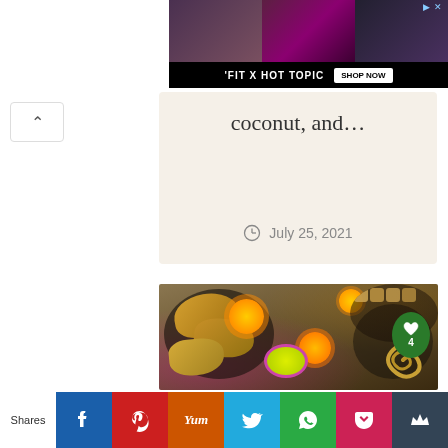[Figure (photo): Advertisement banner for 'FIT X HOT TOPIC' with three fashion photos and Shop Now button]
coconut, and…
July 25, 2021
[Figure (photo): Indian festival food photo showing modak, orange marigold flowers, green powder in bowl, and spiral sweets arranged on dark plate with colorful powder]
Shares | Facebook | Pinterest | Yum | Twitter | WhatsApp | Pocket | Mix